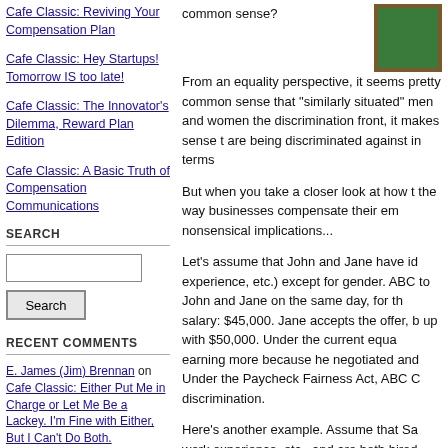Cafe Classic: Reviving Your Compensation Plan
Cafe Classic: Hey Startups! Tomorrow IS too late!
Cafe Classic: The Innovator's Dilemma, Reward Plan Edition
Cafe Classic: A Basic Truth of Compensation Communications
SEARCH
RECENT COMMENTS
E. James (Jim) Brennan on Cafe Classic: Either Put Me in Charge or Let Me Be a Lackey. I'm Fine with Either, But I Can't Do Both.
Bill on Cafe Classic: Don't Use Pay as a Babysitter
Steve on Cafe Classic: Uncertainty Motivates No One
common sense?
From an equality perspective, it seems pretty common sense that "similarly situated" men and women the discrimination front, it makes sense t are being discriminated against in terms
But when you take a closer look at how t the way businesses compensate their em nonsensical implications...
Let's assume that John and Jane have id experience, etc.) except for gender. ABC to John and Jane on the same day, for th salary: $45,000. Jane accepts the offer, b up with $50,000. Under the current equa earning more because he negotiated and Under the Paycheck Fairness Act, ABC C discrimination.
Here's another example. Assume that Sa work experience, etc., and are both hired WidgetCo sets Sam and Sally's starting s making at their previous job. Sam was ea